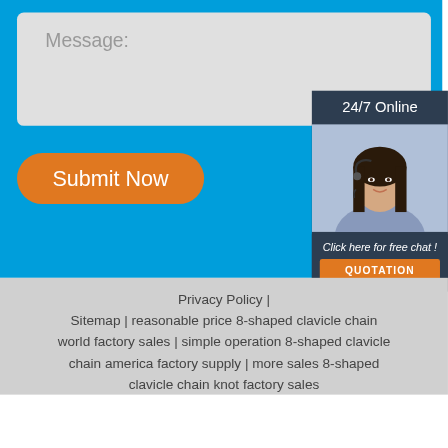Message:
[Figure (screenshot): Blue contact form section with a light gray message text area, an orange 'Submit Now' rounded button, and a dark blue chat widget on the right showing '24/7 Online', a photo of a woman with a headset, 'Click here for free chat!', and an orange 'QUOTATION' button.]
Privacy Policy | Sitemap | reasonable price 8-shaped clavicle chain world factory sales | simple operation 8-shaped clavicle chain america factory supply | more sales 8-shaped clavicle chain knot factory sales